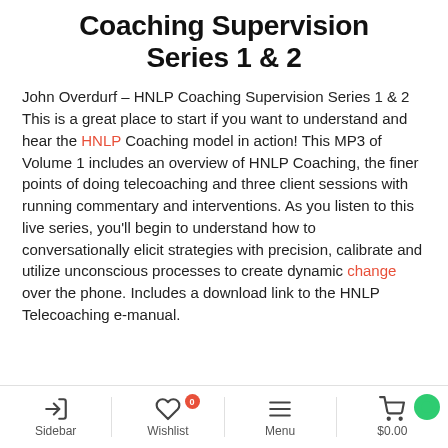Coaching Supervision Series 1 & 2
John Overdurf – HNLP Coaching Supervision Series 1 & 2
This is a great place to start if you want to understand and hear the HNLP Coaching model in action!
This MP3 of Volume 1 includes an overview of HNLP Coaching, the finer points of doing telecoaching and three client sessions with running commentary and interventions. As you listen to this live series, you'll begin to understand how to conversationally elicit strategies with precision, calibrate and utilize unconscious processes to create dynamic change over the phone. Includes a download link to the HNLP Telecoaching e-manual.
Sidebar | Wishlist 0 | Menu | $0.00